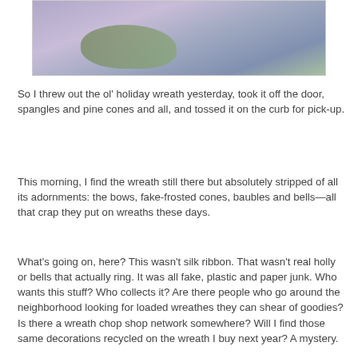[Figure (photo): Partial photo of a holiday wreath with blurred purple/lavender background and green foliage visible at top]
So I threw out the ol' holiday wreath yesterday, took it off the door, spangles and pine cones and all, and tossed it on the curb for pick-up.
This morning, I find the wreath still there but absolutely stripped of all its adornments: the bows, fake-frosted cones, baubles and bells—all that crap they put on wreaths these days.
What's going on, here? This wasn't silk ribbon. That wasn't real holly or bells that actually ring. It was all fake, plastic and paper junk. Who wants this stuff? Who collects it? Are there people who go around the neighborhood looking for loaded wreathes they can shear of goodies? Is there a wreath chop shop network somewhere? Will I find those same decorations recycled on the wreath I buy next year? A mystery.